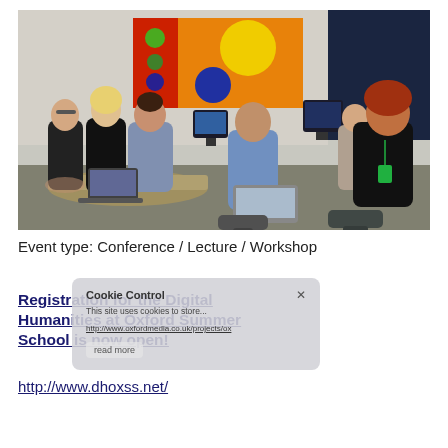[Figure (photo): Group of people working at computers in a classroom/workshop setting with colorful abstract artwork on the wall behind them.]
Event type: Conference / Lecture / Workshop
[Figure (screenshot): Cookie Control overlay popup with text 'This site uses cookies to store...' and a 'read more' button.]
Registration for the Digital Humanities at Oxford Summer School is now open!
http://www.dhoxss.net/